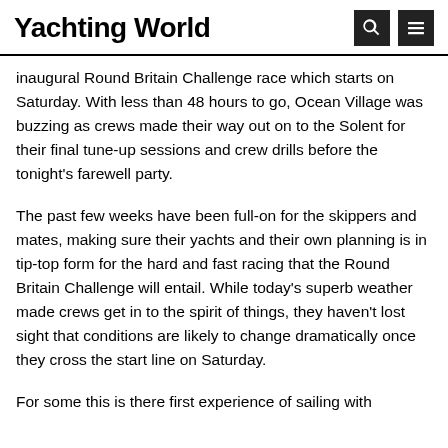Yachting World
inaugural Round Britain Challenge race which starts on Saturday. With less than 48 hours to go, Ocean Village was buzzing as crews made their way out on to the Solent for their final tune-up sessions and crew drills before the tonight's farewell party.
The past few weeks have been full-on for the skippers and mates, making sure their yachts and their own planning is in tip-top form for the hard and fast racing that the Round Britain Challenge will entail. While today's superb weather made crews get in to the spirit of things, they haven't lost sight that conditions are likely to change dramatically once they cross the start line on Saturday.
For some this is there first experience of sailing with